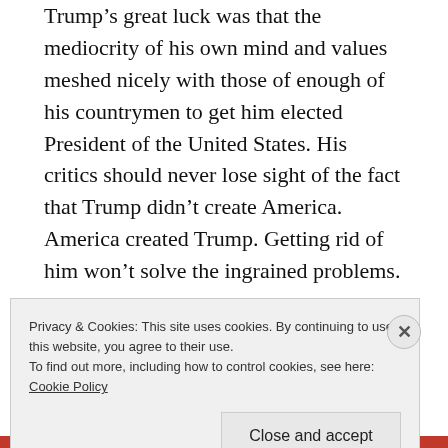Trump's great luck was that the mediocrity of his own mind and values meshed nicely with those of enough of his countrymen to get him elected President of the United States. His critics should never lose sight of the fact that Trump didn't create America. America created Trump. Getting rid of him won't solve the ingrained problems.
Teach Your Children Well
Privacy & Cookies: This site uses cookies. By continuing to use this website, you agree to their use.
To find out more, including how to control cookies, see here:
Cookie Policy